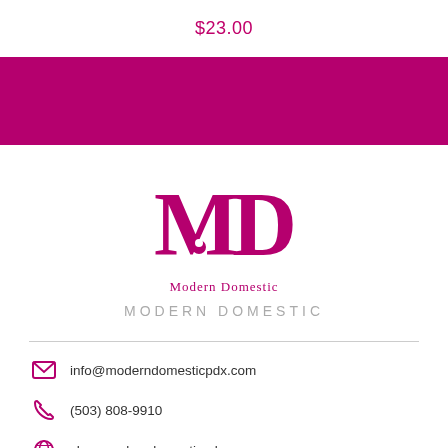$23.00
[Figure (other): Magenta/pink solid color banner bar]
[Figure (logo): Modern Domestic logo: stylized MD monogram in magenta with 'Modern Domestic' text below]
MODERN DOMESTIC
info@moderndomesticpdx.com
(503) 808-9910
shop.moderndomesticpdx.com